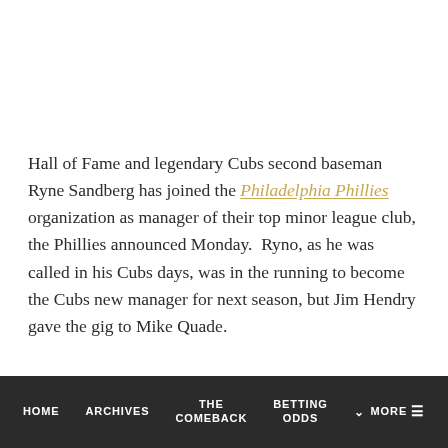Hall of Fame and legendary Cubs second baseman Ryne Sandberg has joined the Philadelphia Phillies organization as manager of their top minor league club, the Phillies announced Monday. Ryno, as he was called in his Cubs days, was in the running to become the Cubs new manager for next season, but Jim Hendry gave the gig to Mike Quade.
HOME  ARCHIVES  THE COMEBACK  BETTING ODDS  MORE